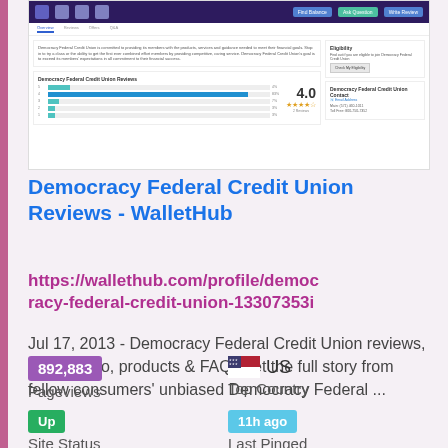[Figure (screenshot): Screenshot of WalletHub page showing Democracy Federal Credit Union reviews with rating bars, score 4.0, stars, and contact info sidebar]
Democracy Federal Credit Union Reviews - WalletHub
https://wallethub.com/profile/democracy-federal-credit-union-13307353i
Jul 17, 2013 - Democracy Federal Credit Union reviews, contact info, products & FAQ. Get the full story from fellow consumers' unbiased Democracy Federal ...
892,883
Pageviews
US
Top Country
Up
Site Status
11h ago
Last Pinged